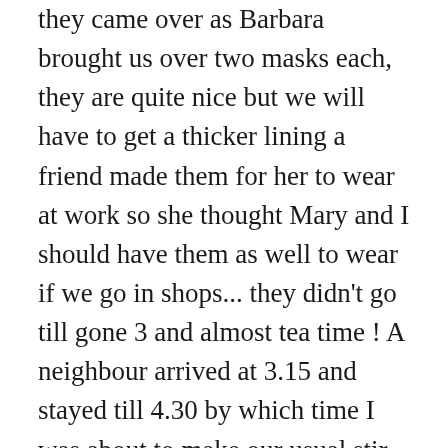they came over as Barbara brought us over two masks each, they are quite nice but we will have to get a thicker lining a friend made them for her to wear at work so she thought Mary and I should have them as well to wear if we go in shops... they didn't go till gone 3 and almost tea time ! A neighbour arrived at 3.15 and stayed till 4.30 by which time I was about to make our usual stir fry .....so you can imagine not much sunbathing !! But I have been out last half hour just come in to watch Countryfile the farmers weekly updates. I enjoy that programme very much also got the best weather forecast